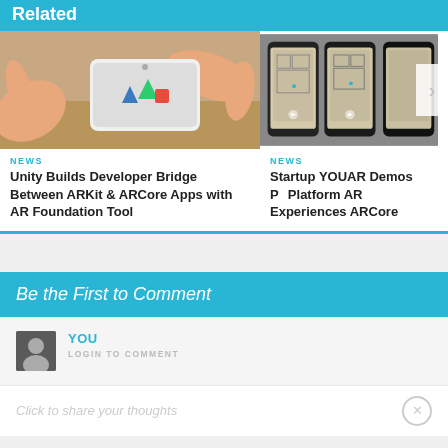Related
[Figure (photo): Hands holding a smartphone displaying AR (augmented reality) content with 3D characters on a table]
NEWS
Unity Builds Developer Bridge Between ARKit & ARCore Apps with AR Foundation Tool
[Figure (screenshot): Screenshots of a mobile app showing AR floor plan or room scanning views on multiple phones]
NEWS
Startup YOUAR Demos Platform AR Experiences ARCore
Be the First to Comment
YOU
LOGIN TO COMMENT
Click to share your thoughts